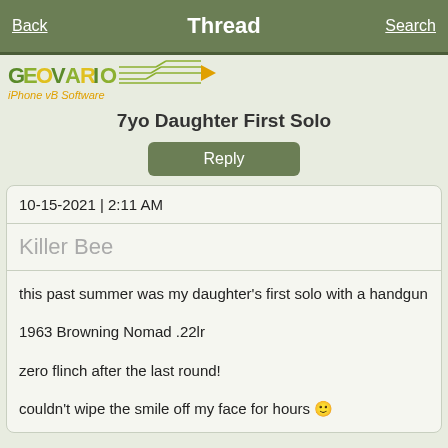Back | Thread | Search
[Figure (logo): GEOVARIO iPhone vB Software logo with circuit board graphic]
7yo Daughter First Solo
Reply
10-15-2021 | 2:11 AM
Killer Bee
this past summer was my daughter's first solo with a handgun

1963 Browning Nomad .22lr

zero flinch after the last round!

couldn't wipe the smile off my face for hours 🙂